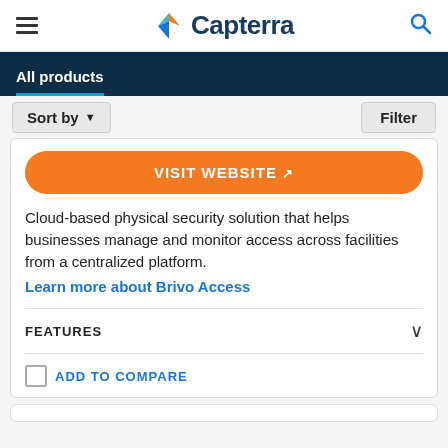Capterra
All products
Sort by   Filter
VISIT WEBSITE
Cloud-based physical security solution that helps businesses manage and monitor access across facilities from a centralized platform.
Learn more about Brivo Access
FEATURES
ADD TO COMPARE